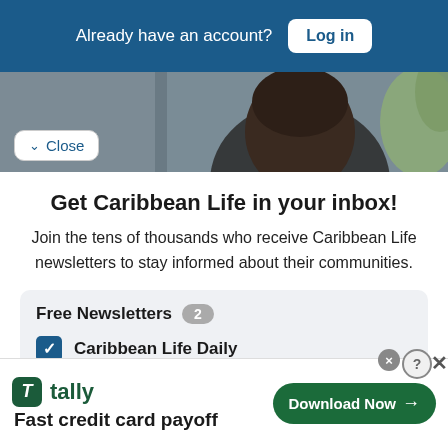Already have an account? Log in
[Figure (photo): Background photo of a man's face, partially visible, with plant foliage on the right side]
Close
Get Caribbean Life in your inbox!
Join the tens of thousands who receive Caribbean Life newsletters to stay informed about their communities.
Free Newsletters 2
Caribbean Life Daily
[Figure (screenshot): Tally app advertisement: tally logo, Fast credit card payoff, Download Now button]